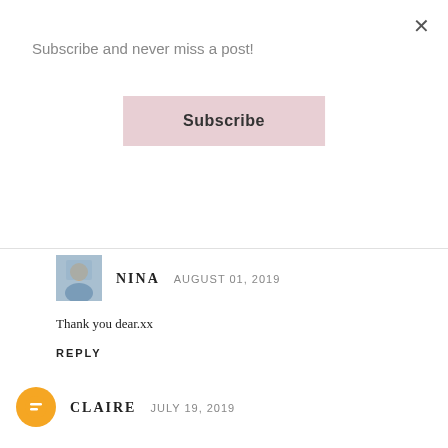Subscribe and never miss a post!
Subscribe
×
NINA   AUGUST 01, 2019
Thank you dear.xx
REPLY
CLAIRE   JULY 19, 2019
love this mist too! i used to love matte makeup before too but now i'm more into dewy makeup.